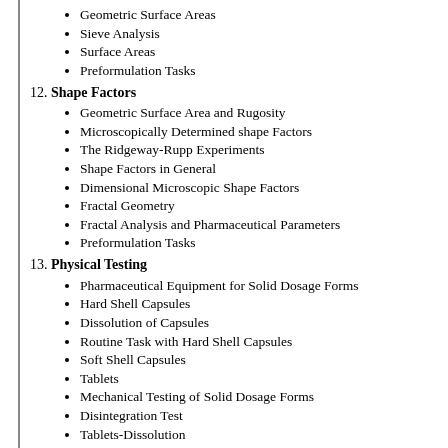Geometric Surface Areas
Sieve Analysis
Surface Areas
Preformulation Tasks
12. Shape Factors
Geometric Surface Area and Rugosity
Microscopically Determined shape Factors
The Ridgeway-Rupp Experiments
Shape Factors in General
Dimensional Microscopic Shape Factors
Fractal Geometry
Fractal Analysis and Pharmaceutical Parameters
Preformulation Tasks
13. Physical Testing
Pharmaceutical Equipment for Solid Dosage Forms
Hard Shell Capsules
Dissolution of Capsules
Routine Task with Hard Shell Capsules
Soft Shell Capsules
Tablets
Mechanical Testing of Solid Dosage Forms
Disintegration Test
Tablets-Dissolution
Physical Compatibility
Some Routine Tests